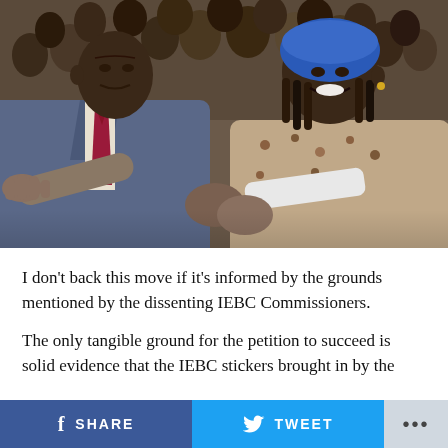[Figure (photo): Two people sitting together at a public event. A man in a blue suit with a red/maroon tie gestures with his right hand toward the left, while a woman in a blue head covering and floral/patterned jacket sits beside him smiling. A crowd of people is visible in the background.]
I don't back this move if it's informed by the grounds mentioned by the dissenting IEBC Commissioners.
The only tangible ground for the petition to succeed is solid evidence that the IEBC stickers brought in by the